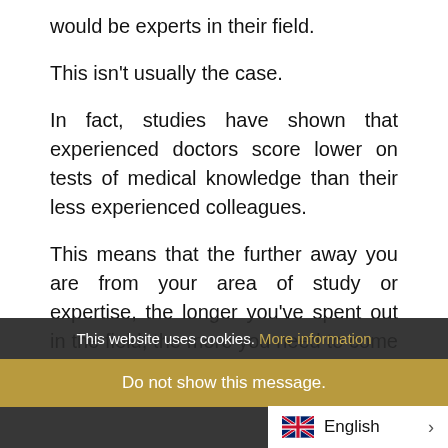would be experts in their field.
This isn't usually the case.
In fact, studies have shown that experienced doctors score lower on tests of medical knowledge than their less experienced colleagues.
This means that the further away you are from your area of study or expertise, the longer you've spent out in the field, the more you need to come back into the fold and brush up on your skills.
WHAT ABOUT INTELLIGENCE
This website uses cookies. More information
Do not show this message.
English